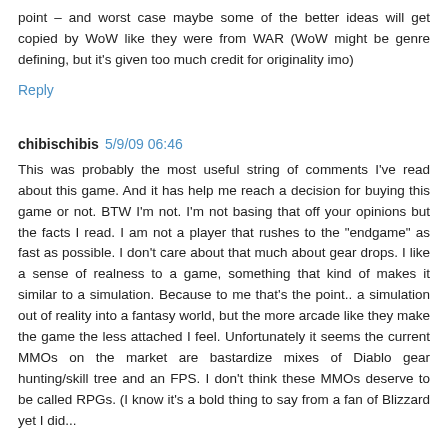point – and worst case maybe some of the better ideas will get copied by WoW like they were from WAR (WoW might be genre defining, but it's given too much credit for originality imo)
Reply
chibischibis 5/9/09 06:46
This was probably the most useful string of comments I've read about this game. And it has help me reach a decision for buying this game or not. BTW I'm not. I'm not basing that off your opinions but the facts I read. I am not a player that rushes to the "endgame" as fast as possible. I don't care about that much about gear drops. I like a sense of realness to a game, something that kind of makes it similar to a simulation. Because to me that's the point.. a simulation out of reality into a fantasy world, but the more arcade like they make the game the less attached I feel. Unfortunately it seems the current MMOs on the market are bastardize mixes of Diablo gear hunting/skill tree and an FPS. I don't think these MMOs deserve to be called RPGs. (I know it's a bold thing to say from a fan of Blizzard yet I did...